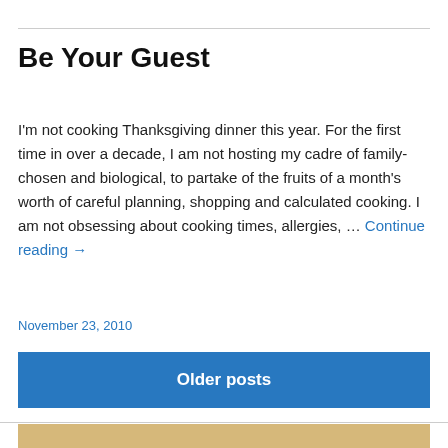Be Your Guest
I'm not cooking Thanksgiving dinner this year. For the first time in over a decade, I am not hosting my cadre of family-chosen and biological, to partake of the fruits of a month's worth of careful planning, shopping and calculated cooking. I am not obsessing about cooking times, allergies, … Continue reading →
November 23, 2010
Older posts
[Figure (photo): Partial view of a food/cooking photograph at the bottom of the page]